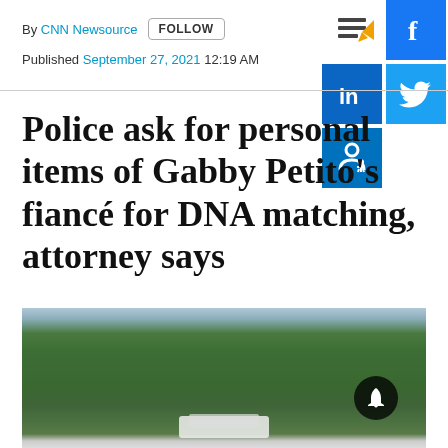By CNN Newsource  FOLLOW
Published  September 27, 2021  12:19 AM
Police ask for personal items of Gabby Petito's fiancé for DNA matching, attorney says
[Figure (photo): Aerial drone photo of dense green forest with a white structure/vehicle visible beneath the tree canopy]